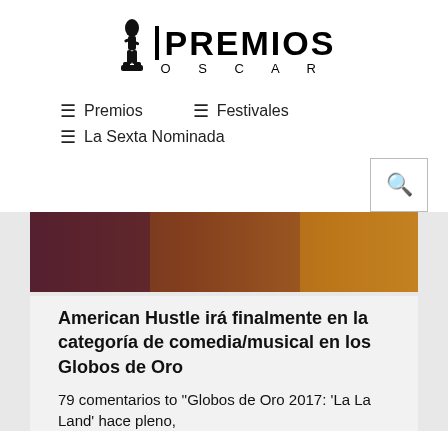[Figure (logo): Premios Oscar logo with Oscar statuette figure and text 'PREMIOS' in large bold letters above 'O S C A R' spaced letters]
≡ Premios   ≡ Festivales
≡ La Sexta Nominada
[Figure (photo): Movie still showing people in 1970s style clothing, partial view cropped at top]
American Hustle irá finalmente en la categoría de comedia/musical en los Globos de Oro
79 comentarios to ''Globos de Oro 2017: 'La La Land' hace pleno,